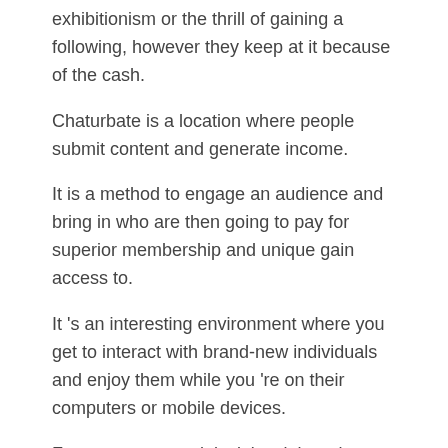exhibitionism or the thrill of gaining a following, however they keep at it because of the cash.
Chaturbate is a location where people submit content and generate income.
It is a method to engage an audience and bring in who are then going to pay for superior membership and unique gain access to.
It 's an interesting environment where you get to interact with brand-new individuals and enjoy them while you 're on their computers or mobile devices.
For numerous models, it 's a job and as such, they 're more like strippers at a strip club or designs in a glossy magazine who promote themselves in order to grow a fan base. How To Go Private On Chaturbate For Free
How much money the models make as cam entertainers can differ